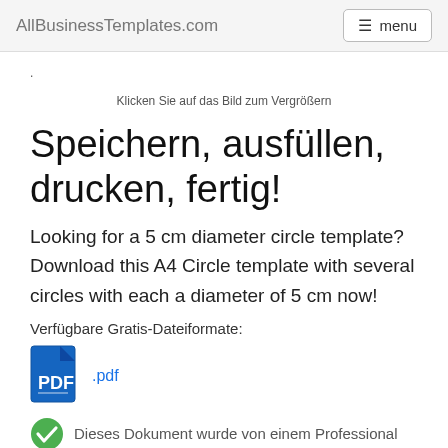AllBusinessTemplates.com   menu
Klicken Sie auf das Bild zum Vergrößern
Speichern, ausfüllen, drucken, fertig!
Looking for a 5 cm diameter circle template? Download this A4 Circle template with several circles with each a diameter of 5 cm now!
Verfügbare Gratis-Dateiformate:
[Figure (illustration): PDF file icon with .pdf label in blue]
Dieses Dokument wurde von einem Professional...